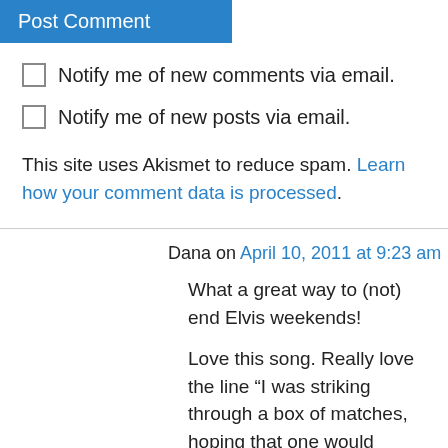Post Comment
Notify me of new comments via email.
Notify me of new posts via email.
This site uses Akismet to reduce spam. Learn how your comment data is processed.
Dana on April 10, 2011 at 9:23 am
What a great way to (not) end Elvis weekends!
Love this song. Really love the line “I was striking through a box of matches, hoping that one would spark.” I think that, in addition to the notion that a favorite artist can be your companion helping you get through life, Elvis is